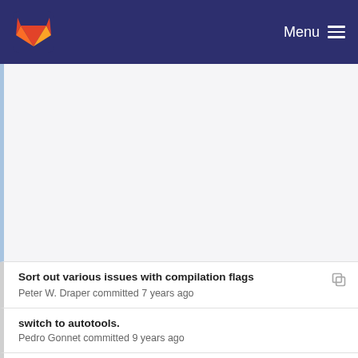GitLab — Menu
Sort out various issues with compilation flags
Peter W. Draper committed 7 years ago
switch to autotools.
Pedro Gonnet committed 9 years ago
Add --enable-sanitizer option to switch on the GC...
Peter W. Draper committed 7 years ago
Normalise all --enable and --with checks to use sa...
Peter W. Draper committed 7 years ago
Add support for linking against MPI libraries with t...
Peter W. Draper committed 7 years ago